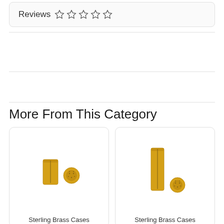Reviews ☆☆☆☆☆
More From This Category
[Figure (photo): Two brass cartridge cases — a short cylindrical case and a small round primer, gold colored, product photo on white background]
[Figure (photo): Two brass cartridge cases — a tall cylindrical case and a small round primer, gold colored, product photo on white background]
Sterling Brass Cases
Sterling Brass Cases